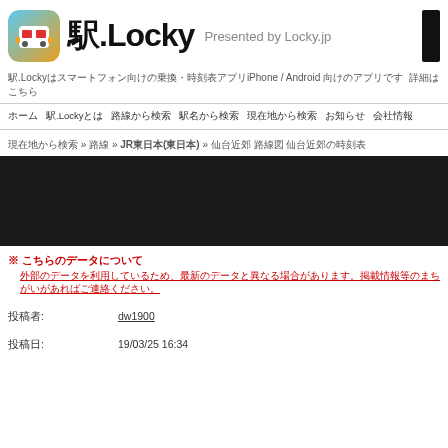駅.Locky  Presented by Locky.jp
駅.LockyはiPhone / Android 向けのアプリです
ホーム　駅.Lockyとは　路線から検索　駅名から検索　現在地から検索　お知らせ　会社情報
現在地から検索 » 路線 » JR東日本(東日本) » 仙台近郊 路線図 仙台近郊の時刻表
[Figure (map): Dark map area showing train route map]
※ こちらのデータについて
外部のデータを利用しているため、最新のデータと異なる場合があります。
投稿者:     dw1900
投稿日:     19/03/25 16:34